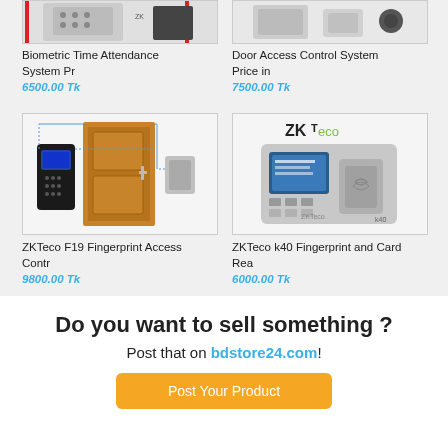[Figure (photo): Biometric Time Attendance System product image, partial top view]
Biometric Time Attendance System Pr
6500.00 Tk
[Figure (photo): Door Access Control System product image, partial top view]
Door Access Control System Price in
7500.00 Tk
[Figure (photo): ZKTeco F19 Fingerprint Access Control system showing a fingerprint reader next to a door]
ZKTeco F19 Fingerprint Access Contr
9800.00 Tk
[Figure (photo): ZKTeco k40 Fingerprint and Card Reader device with ZKTeco logo]
ZKTeco k40 Fingerprint and Card Rea
6000.00 Tk
Do you want to sell something ?
Post that on bdstore24.com!
Post Your Product